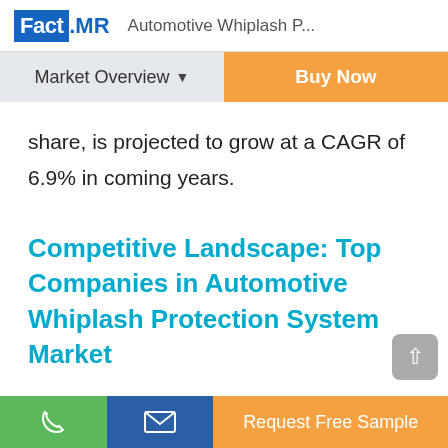Fact.MR  Automotive Whiplash P...
Market Overview ▼   Buy Now
share, is projected to grow at a CAGR of 6.9% in coming years.
Competitive Landscape: Top Companies in Automotive Whiplash Protection System Market
The global automotive whiplash protection system market is highly fragmented and competitive ow…
📞  ✉  Request Free Sample